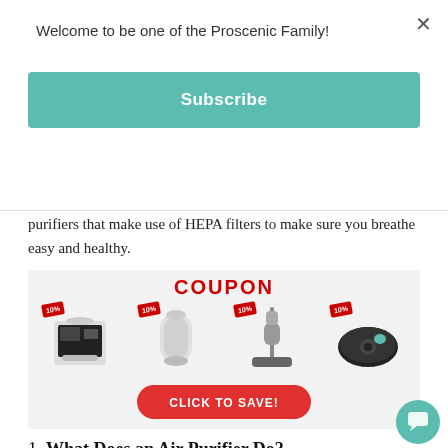Welcome to be one of the Proscenic Family!
Subscribe
purifiers that make use of HEPA filters to make sure you breathe easy and healthy.
[Figure (infographic): Coupon banner showing four Proscenic products (air fryer, air purifier, stick vacuum, robot vacuum) each with a 10% discount tag and a red 'CLICK TO SAVE!' button.]
1. What Does an Air Purifier Do?
An air purifier is simply an air filter or purifier. They purify the air to improve air quality and make